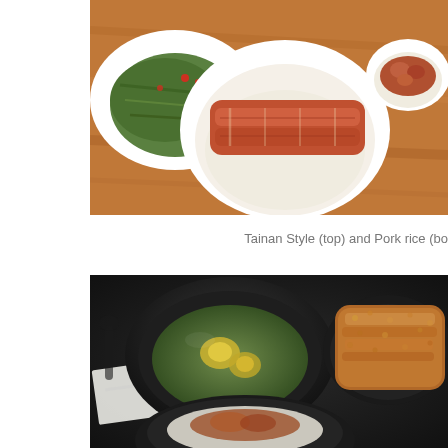[Figure (photo): Photo of Tainan Style pork rice in white bowls on a wooden table. A large white bowl in the center contains braised pork belly over rice, a white plate with seasoned greens on the left, and a smaller white bowl with minced pork over rice on the right.]
Tainan Style (top) and Pork rice (bo
[Figure (photo): Photo of a meal set on a dark/black tray. Contains a black bowl of soup with egg, a black bowl/plate of fried pork chop, and a black bowl of rice with minced pork visible at the bottom. A white napkin is visible on the left side of the tray.]